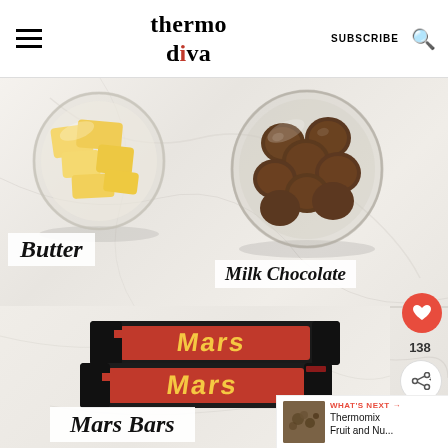thermo diva — SUBSCRIBE
[Figure (photo): Overhead photo of ingredients on a marble surface: a glass bowl of butter chunks (top left), a glass bowl of milk chocolate discs (top right), and two Mars chocolate bars (bottom center), with text labels 'Butter', 'Milk Chocolate', and 'Mars Bars' overlaid on the image.]
Butter
Milk Chocolate
Mars Bars
138
WHAT'S NEXT → Thermomix Fruit and Nu...